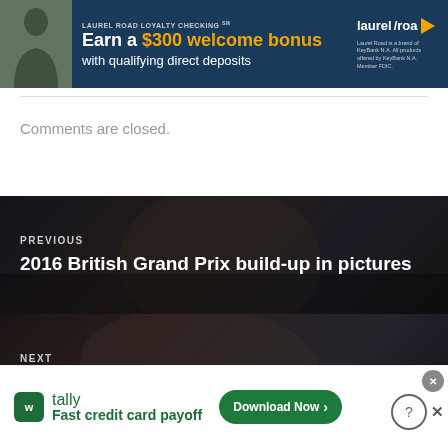[Figure (infographic): Laurel Road Loyalty Checking advertisement banner — dark blue background, woman photo on left, text 'LAUREL ROAD LOYALTY CHECKING SM / Earn a $300 welcome bonus / with qualifying direct deposits', Laurel Road logo on right with fine print about KeyBank N.A.]
Comments are closed.
[Figure (photo): Navigation block — Previous: '2016 British Grand Prix build-up in pictures', dark overlay on racing photo background]
[Figure (photo): Navigation block — Next: 'Ferrari extends Raikkonen’s contract to 2017', dark overlay on racing photo background showing Kimi Raikkonen]
[Figure (infographic): Tally app advertisement — white background, green Tally icon, text 'tally / Fast credit card payoff', green 'Download Now' button with arrow, close/info/X buttons at top right]